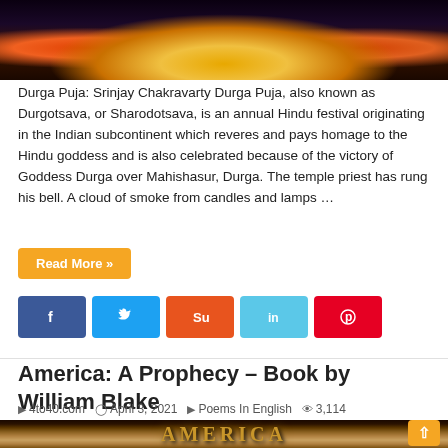[Figure (photo): Colorful Hindu goddess idol (Durga Puja) with decorative ornaments on dark background]
Durga Puja: Srinjay Chakravarty Durga Puja, also known as Durgotsava, or Sharodotsava, is an annual Hindu festival originating in the Indian subcontinent which reveres and pays homage to the Hindu goddess and is also celebrated because of the victory of Goddess Durga over Mahishasur, Durga. The temple priest has rung his bell. A cloud of smoke from candles and lamps …
Read More »
[Figure (other): Social media sharing buttons: Facebook, Twitter, StumbleUpon, LinkedIn, Pinterest]
America: A Prophecy – Book by William Blake
4to40.com  April 3, 2021  Poems In English  3,114
[Figure (photo): Book cover image showing 'AMERICA' text in golden lettering on dark background]